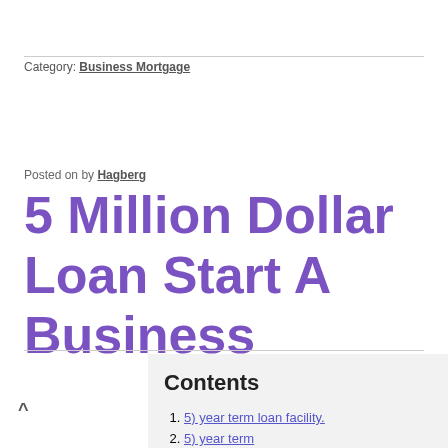Category: Business Mortgage
Posted on by Hagberg
5 Million Dollar Loan Start A Business
Contents
5) year term loan facility.
5) year term